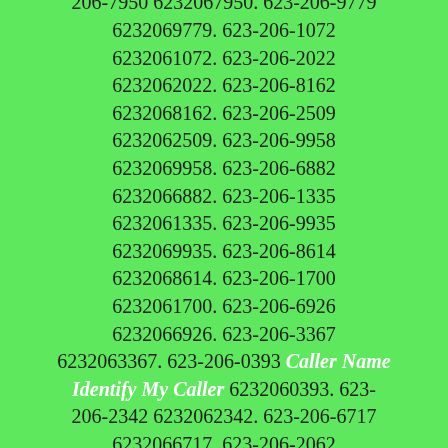6232060072.  623-206-8432 6232068432. 623-206-2190 6232062190. 623-206-0226 Caller Name Identify My Caller 6232060226. 623-206-7950 6232067950. 623-206-9779 6232069779. 623-206-1072 6232061072. 623-206-2022 6232062022. 623-206-8162 6232068162. 623-206-2509 6232062509. 623-206-9958 6232069958. 623-206-6882 6232066882. 623-206-1335 6232061335. 623-206-9935 6232069935. 623-206-8614 6232068614. 623-206-1700 6232061700. 623-206-6926 6232066926. 623-206-3367 6232063367. 623-206-0393 Caller Name Identify My Caller 6232060393. 623-206-2342 6232062342. 623-206-6717 6232066717. 623-206-2062 6232062062. 623-206-9715 6232069715. 623-206-2513 6232062513. 623-206-3580 6232063580. 623-206-8370